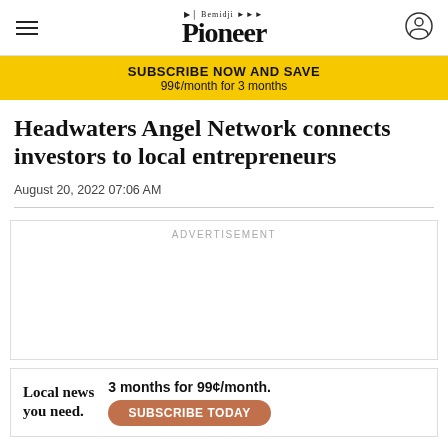The Bemidji Pioneer
SUBSCRIBE NOW AND SAVE
99¢/month for 3 months
Headwaters Angel Network connects investors to local entrepreneurs
August 20, 2022 07:06 AM
ADVERTISEMENT
[Figure (other): Bottom advertisement banner: 'Local news you need. 3 months for 99¢/month. SUBSCRIBE TODAY']